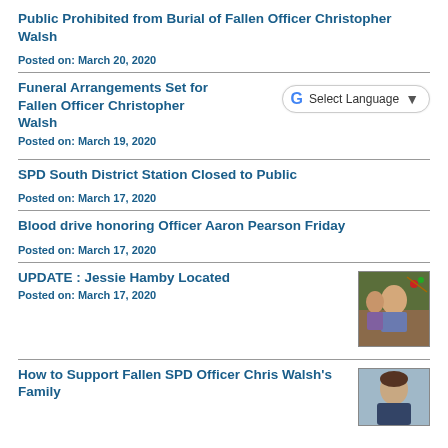Public Prohibited from Burial of Fallen Officer Christopher Walsh
Posted on: March 20, 2020
Funeral Arrangements Set for Fallen Officer Christopher Walsh
Posted on: March 19, 2020
SPD South District Station Closed to Public
Posted on: March 17, 2020
Blood drive honoring Officer Aaron Pearson Friday
Posted on: March 17, 2020
UPDATE : Jessie Hamby Located
Posted on: March 17, 2020
[Figure (photo): Photo of Jessie Hamby, an elderly man with a woman, in front of holiday decorations]
How to Support Fallen SPD Officer Chris Walsh's Family
[Figure (photo): Headshot photo of Officer Chris Walsh]